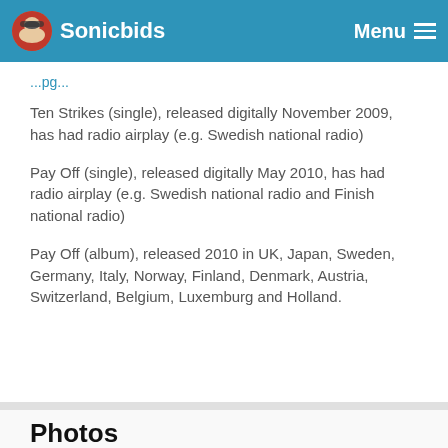Sonicbids  Menu
Ten Strikes (single), released digitally November 2009, has had radio airplay (e.g. Swedish national radio)
Pay Off (single), released digitally May 2010, has had radio airplay (e.g. Swedish national radio and Finish national radio)
Pay Off (album), released 2010 in UK, Japan, Sweden, Germany, Italy, Norway, Finland, Denmark, Austria, Switzerland, Belgium, Luxemburg and Holland.
Photos